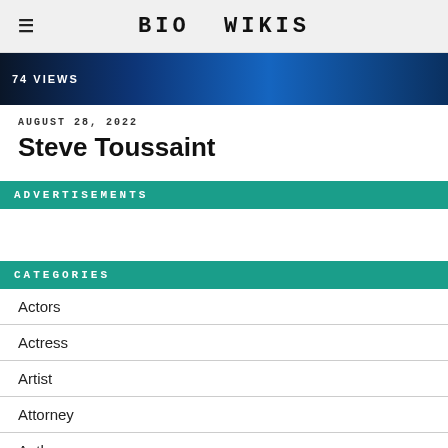BIO WIKIS
[Figure (photo): Dark blue background image with '74 VIEWS' overlay text]
AUGUST 28, 2022
Steve Toussaint
ADVERTISEMENTS
CATEGORIES
Actors
Actress
Artist
Attorney
Author